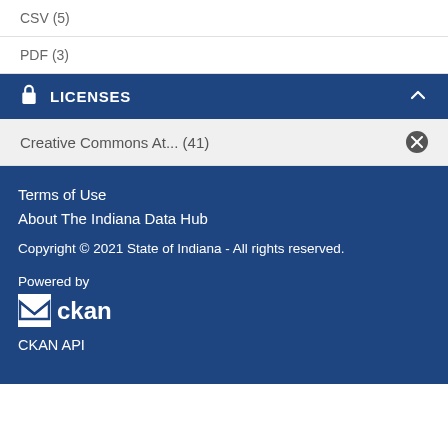CSV (5)
PDF (3)
LICENSES
Creative Commons At... (41)
Terms of Use
About The Indiana Data Hub
Copyright © 2021 State of Indiana - All rights reserved.
Powered by
[Figure (logo): CKAN logo with envelope icon and ckan text]
CKAN API